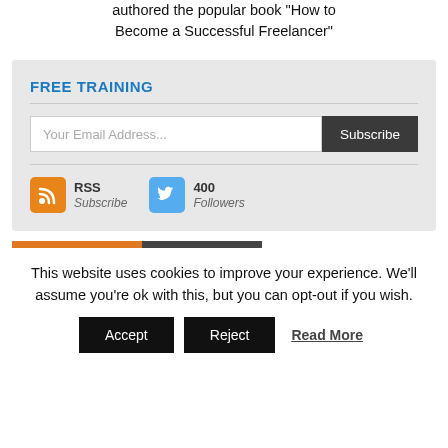authored the popular book "How to Become a Successful Freelancer"
FREE TRAINING
[Figure (screenshot): Email subscription widget with 'Your Email Address...' input field and 'Subscribe' button, plus RSS Subscribe and 400 Followers social links]
This website uses cookies to improve your experience. We'll assume you're ok with this, but you can opt-out if you wish.
Accept   Reject   Read More